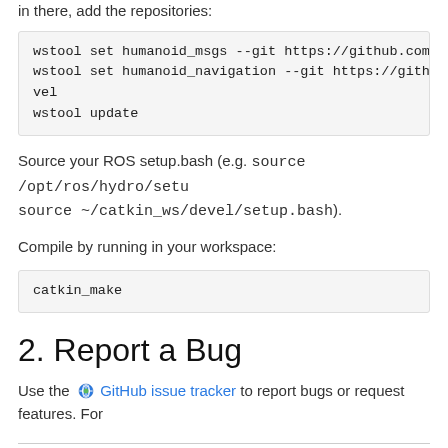in there, add the repositories:
wstool set humanoid_msgs --git https://github.com/ahorm
wstool set humanoid_navigation --git https://github.com
vel
wstool update
Source your ROS setup.bash (e.g. source /opt/ros/hydro/setup.bash source ~/catkin_ws/devel/setup.bash).
Compile by running in your workspace:
catkin_make
2. Report a Bug
Use the GitHub issue tracker to report bugs or request features. For
Except where otherwise noted, the ROS wiki is licensed under the Creative Commons Attribution 3.0
Brought to you by: Open Robotics